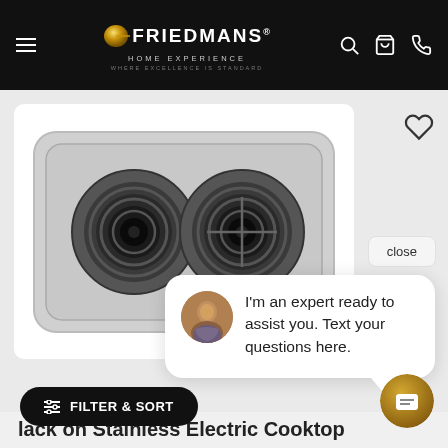Friedmans Home Experience — WHERE EXCELLENCE IS STANDARD
[Figure (photo): Electric cooktop product image showing two black coil burners on a stainless steel surface, shown in a white card area]
close
I'm an expert ready to assist you. Text your questions here.
FILTER & SORT
...lack on Stainless Electric Cooktop